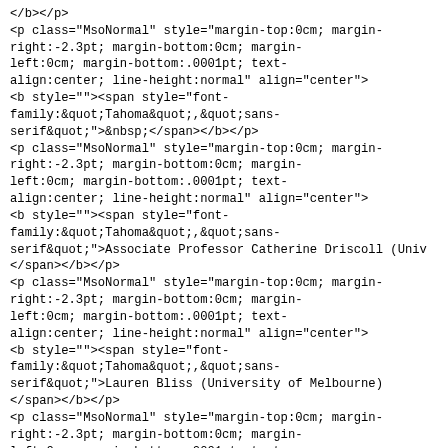</b></p>
<p class="MsoNormal" style="margin-top:0cm; margin-right:-2.3pt; margin-bottom:0cm; margin-left:0cm; margin-bottom:.0001pt; text-align:center; line-height:normal" align="center">
<b style=""><span style="font-family:&quot;Tahoma&quot;,&quot;sans-serif&quot;">&nbsp;</span></b></p>
<p class="MsoNormal" style="margin-top:0cm; margin-right:-2.3pt; margin-bottom:0cm; margin-left:0cm; margin-bottom:.0001pt; text-align:center; line-height:normal" align="center">
<b style=""><span style="font-family:&quot;Tahoma&quot;,&quot;sans-serif&quot;">Associate Professor Catherine Driscoll (Univ
</span></b></p>
<p class="MsoNormal" style="margin-top:0cm; margin-right:-2.3pt; margin-bottom:0cm; margin-left:0cm; margin-bottom:.0001pt; text-align:center; line-height:normal" align="center">
<b style=""><span style="font-family:&quot;Tahoma&quot;,&quot;sans-serif&quot;">Lauren Bliss (University of Melbourne)
</span></b></p>
<p class="MsoNormal" style="margin-top:0cm; margin-right:-2.3pt; margin-bottom:0cm; margin-left:0cm; margin-bottom:.0001pt; text-align:justify; line-height:normal">
<b style=""><span style="font-family:&quot;Tahoma&quot;,&quot;sans-serif&quot;-